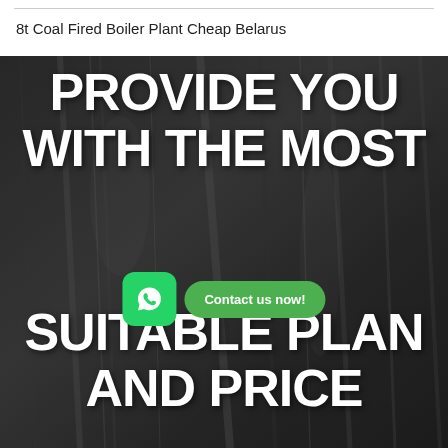8t Coal Fired Boiler Plant Cheap Belarus
[Figure (photo): Dark coal texture background with large bold white text overlay reading 'PROVIDE YOU WITH THE MOST SUITABLE PLAN AND PRICE', and a WhatsApp icon with a 'Contact us now!' green button overlaid in the center-right area.]